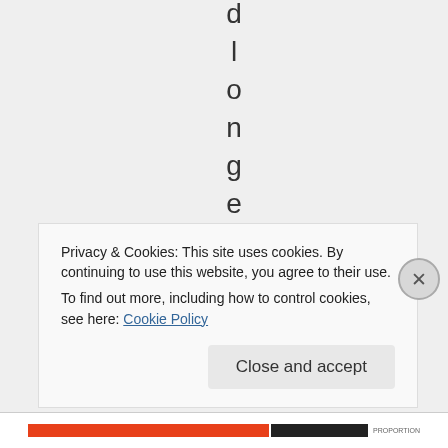d l o n g e v i t y o
Privacy & Cookies: This site uses cookies. By continuing to use this website, you agree to their use.
To find out more, including how to control cookies, see here: Cookie Policy
Close and accept